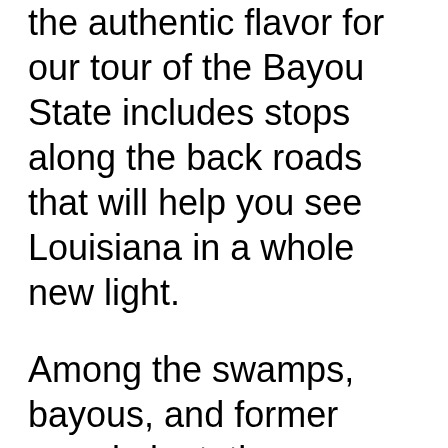the authentic flavor for our tour of the Bayou State includes stops along the back roads that will help you see Louisiana in a whole new light.
Among the swamps, bayous, and former grand plantations are colorful regions with their own subcultures. In these smaller communities, you won't find the debauchery of Bourbon Street or a non-stop carnival atmosphere.